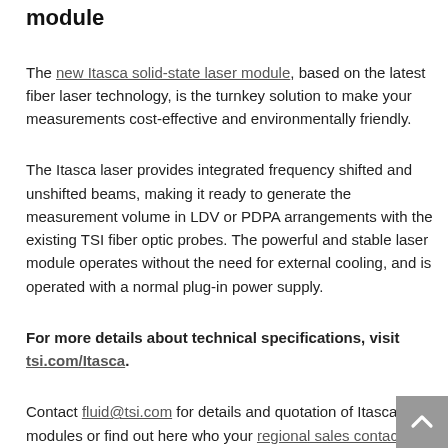module
The new Itasca solid-state laser module, based on the latest fiber laser technology, is the turnkey solution to make your measurements cost-effective and environmentally friendly.
The Itasca laser provides integrated frequency shifted and unshifted beams, making it ready to generate the measurement volume in LDV or PDPA arrangements with the existing TSI fiber optic probes. The powerful and stable laser module operates without the need for external cooling, and is operated with a normal plug-in power supply.
For more details about technical specifications, visit tsi.com/Itasca.
Contact fluid@tsi.com for details and quotation of Itasca modules or find out here who your regional sales contact is.
Geposted auf Jan 28 2022 10:19
Gespeichert unter fluid mechanics, laser doppler velocimetry,